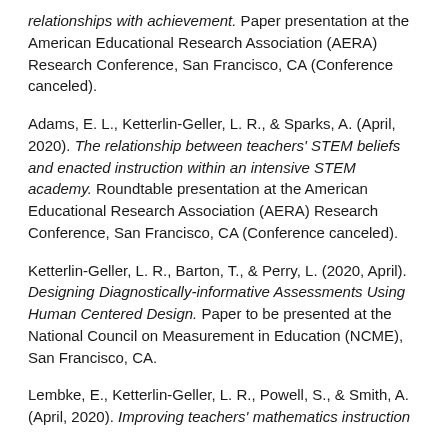relationships with achievement. Paper presentation at the American Educational Research Association (AERA) Research Conference, San Francisco, CA (Conference canceled).
Adams, E. L., Ketterlin-Geller, L. R., & Sparks, A. (April, 2020). The relationship between teachers' STEM beliefs and enacted instruction within an intensive STEM academy. Roundtable presentation at the American Educational Research Association (AERA) Research Conference, San Francisco, CA (Conference canceled).
Ketterlin-Geller, L. R., Barton, T., & Perry, L. (2020, April). Designing Diagnostically-informative Assessments Using Human Centered Design. Paper to be presented at the National Council on Measurement in Education (NCME), San Francisco, CA.
Lembke, E., Ketterlin-Geller, L. R., Powell, S., & Smith, A. (April, 2020). Improving teachers' mathematics instruction